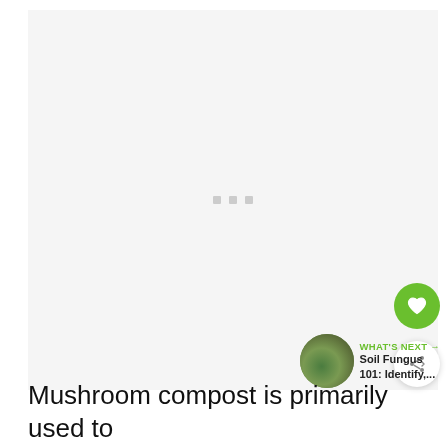[Figure (photo): Large image area showing a loading/placeholder state with three small gray dots in the center, light gray background. Likely a mushroom compost photo loading.]
[Figure (illustration): Heart (favorite) button - circular green button with a white heart icon]
[Figure (illustration): Share button - circular white button with a share/network icon]
[Figure (illustration): What's Next widget showing a circular thumbnail of soil/fungus, label 'WHAT'S NEXT →', and title 'Soil Fungus 101: Identify,...']
Mushroom compost is primarily used to